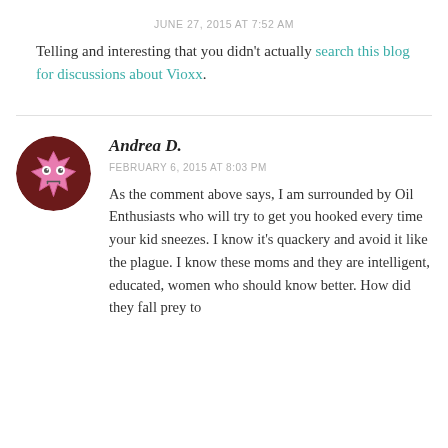JUNE 27, 2015 AT 7:52 AM
Telling and interesting that you didn't actually search this blog for discussions about Vioxx.
Andrea D.
FEBRUARY 6, 2015 AT 8:03 PM
As the comment above says, I am surrounded by Oil Enthusiasts who will try to get you hooked every time your kid sneezes. I know it's quackery and avoid it like the plague. I know these moms and they are intelligent, educated, women who should know better. How did they fall prey to